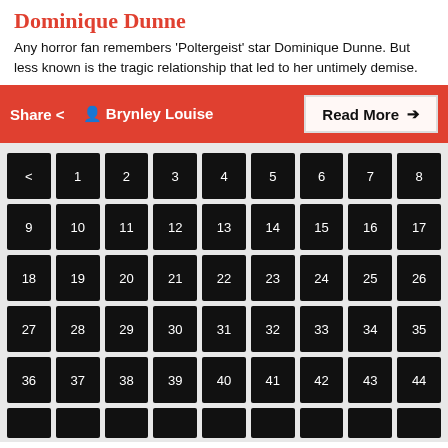Dominique Dunne
Any horror fan remembers 'Poltergeist' star Dominique Dunne. But less known is the tragic relationship that led to her untimely demise.
Share  Brynley Louise  Read More
[Figure (other): Pagination grid showing page navigation buttons: back arrow, pages 1-44, arranged in rows of 9]